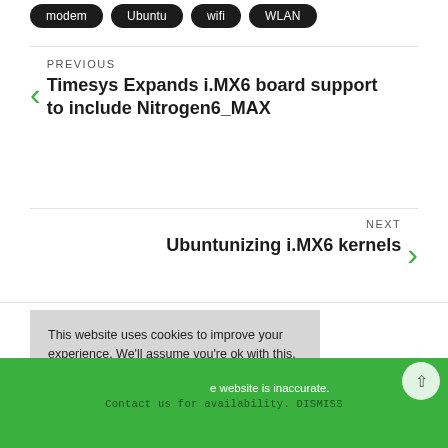modem
Ubuntu
wifi
WLAN
PREVIOUS
Timesys Expands i.MX6 board support to include Nitrogen6_MAX
NEXT
Ubuntunizing i.MX6 kernels
This website uses cookies to improve your experience. We'll assume you're ok with this, but you can opt-out if you wish.
ACCEPT
e website is inaccurate. Contact us for availability. DISMISS